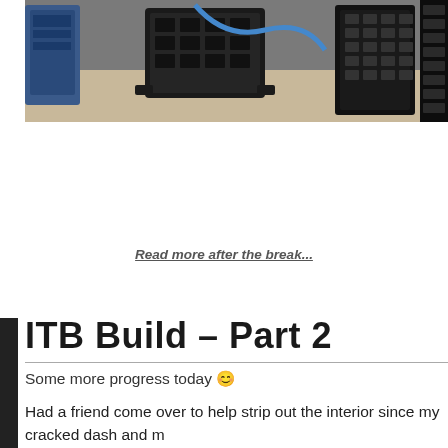[Figure (photo): Close-up photo of electronic components including a fuse box/relay block and wiring harness components on a workbench surface. Blue wire visible among black plastic connectors and terminal blocks.]
Read more after the break...
ITB Build – Part 2
Some more progress today 😊
Had a friend come over to help strip out the interior since my cracked dash and m getting replaced. Also makes it easier to get out the old wiring harness. Enjoy th